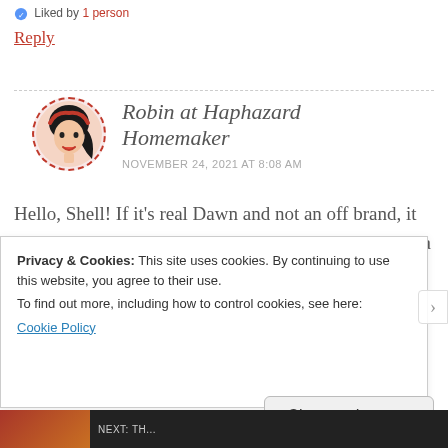Liked by 1 person
Reply
[Figure (illustration): Avatar illustration of Robin at Haphazard Homemaker — a cartoon woman with black hair and red headband, inside a circular dashed red border]
Robin at Haphazard Homemaker
NOVEMBER 24, 2021 AT 8:08 AM
Hello, Shell! If it’s real Dawn and not an off brand, it would probably work pretty well. Since you only use a few ounces of Dawn, it
Privacy & Cookies: This site uses cookies. By continuing to use this website, you agree to their use.
To find out more, including how to control cookies, see here:
Cookie Policy
Close and accept